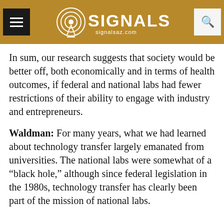SIGNALS signalsaz.com
In sum, our research suggests that society would be better off, both economically and in terms of health outcomes, if federal and national labs had fewer restrictions of their ability to engage with industry and entrepreneurs.
Waldman: For many years, what we had learned about technology transfer largely emanated from universities. The national labs were somewhat of a “black hole,” although since federal legislation in the 1980s, technology transfer has clearly been part of the mission of national labs.